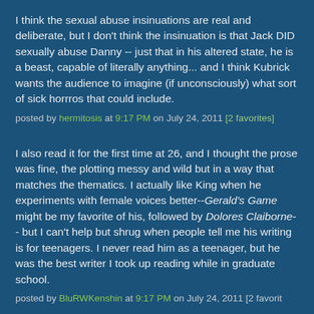I think the sexual abuse insinuations are real and deliberate, but I don't think the insinuation is that Jack DID sexually abuse Danny -- just that in his altered state, he is a beast, capable of literally anything... and I think Kubrick wants the audience to imagine (if unconsciously) what sort of sick horrros that could include.
posted by hermitosis at 9:17 PM on July 24, 2011 [2 favorites]
I also read it for the first time at 26, and I thought the prose was fine, the plotting messy and wild but in a way that matches the thematics. I actually like King when he experiments with female voices better--Gerald's Game might be my favorite of his, followed by Dolores Claiborne-- but I can't help but shrug when people tell me his writing is for teenagers. I never read him as a teenager, but he was the best writer I took up reading while in graduate school.
posted by BluRWKenshin at 9:17 PM on July 24, 2011 [2 favorites]